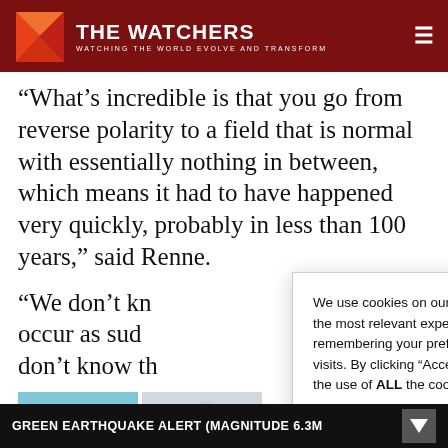THE WATCHERS — WATCHING THE WORLD EVOLVE AND TRANSFORM
“What’s incredible is that you go from reverse polarity to a field that is normal with essentially nothing in between, which means it had to have happened very quickly, probably in less than 100 years,” said Renne.
“We don’t kn… occur as sud… don’t know th…
We use cookies on our website to give you the most relevant experience by remembering your preferences and repeat visits. By clicking “Accept”, you consent to the use of ALL the cookies.
Do not sell my personal information.
Cookie settings
Accept
[Figure (photo): Two thumbnail images partially visible: a blue oval/egg shape and small bottles]
GREEN EARTHQUAKE ALERT (MAGNITUDE 6.3…